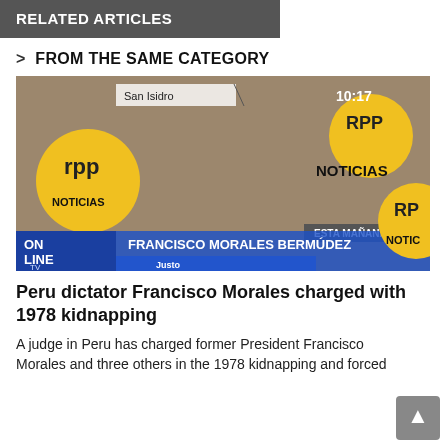RELATED ARTICLES
> FROM THE SAME CATEGORY
[Figure (screenshot): Television screenshot showing Francisco Morales Bermúdez being interviewed on RPP Noticias. Lower third caption reads 'FRANCISCO MORALES BERMÚDEZ — Expresidente de la República'. ON LINE TV logo visible. Timestamp 10:17. Location text: San Isidro. 'ESTA MAÑANA' label visible.]
Peru dictator Francisco Morales charged with 1978 kidnapping
A judge in Peru has charged former President Francisco Morales and three others in the 1978 kidnapping and forced